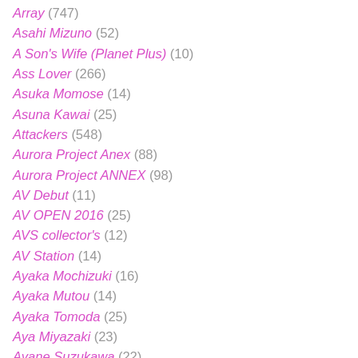Array (747)
Asahi Mizuno (52)
A Son's Wife (Planet Plus) (10)
Ass Lover (266)
Asuka Momose (14)
Asuna Kawai (25)
Attackers (548)
Aurora Project Anex (88)
Aurora Project ANNEX (98)
AV Debut (11)
AV OPEN 2016 (25)
AVS collector's (12)
AV Station (14)
Ayaka Mochizuki (16)
Ayaka Mutou (14)
Ayaka Tomoda (25)
Aya Miyazaki (23)
Ayane Suzukawa (22)